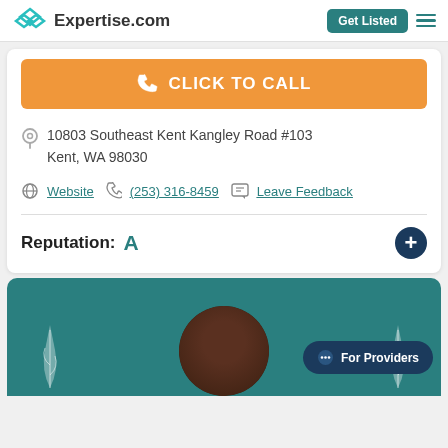Expertise.com | Get Listed
CLICK TO CALL
10803 Southeast Kent Kangley Road #103
Kent, WA 98030
Website | (253) 316-8459 | Leave Feedback
Reputation: A
[Figure (screenshot): Teal section with avatar circle, leaf decorations, and For Providers button]